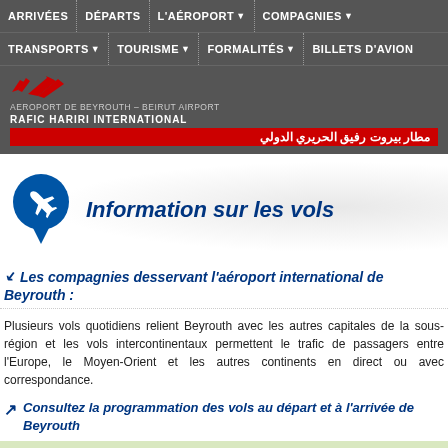ARRIVÉES | DÉPARTS | L'AÉROPORT | COMPAGNIES
TRANSPORTS | TOURISME | FORMALITÉS | BILLETS D'AVION
[Figure (logo): Beirut Airport logo with red plane silhouettes, text: AEROPORT DE BEYROUTH – BEIRUT AIRPORT, RAFIC HARIRI INTERNATIONAL, and Arabic text مطار بيروت رفيق الحريري الدولي on red background]
Information sur les vols
Les compagnies desservant l'aéroport international de Beyrouth :
Plusieurs vols quotidiens relient Beyrouth avec les autres capitales de la sous-région et les vols intercontinentaux permettent le trafic de passagers entre l'Europe, le Moyen-Orient et les autres continents en direct ou avec correspondance.
Consultez la programmation des vols au départ et à l'arrivée de Beyrouth